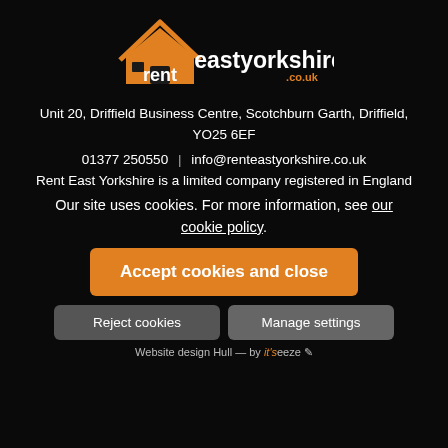[Figure (logo): Rent East Yorkshire logo: orange house icon with 'rent' in white and 'eastyorkshire.co.uk' in orange and white text]
Unit 20, Driffield Business Centre, Scotchburn Garth, Driffield, YO25 6EF
01377 250550 | info@renteastyorkshire.co.uk
Rent East Yorkshire is a limited company registered in England
Our site uses cookies. For more information, see our cookie policy.
Accept cookies and close
Reject cookies
Manage settings
Website design Hull — by it'seeze